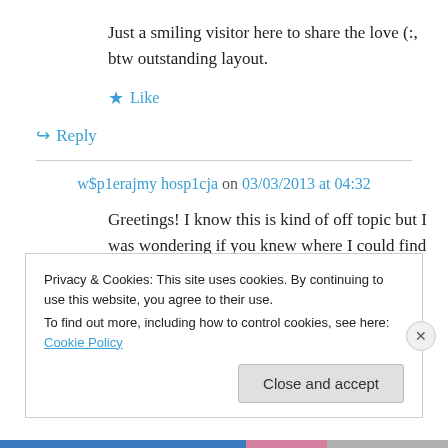Just a smiling visitor here to share the love (:, btw outstanding layout.
★ Like
↪ Reply
w$p1erajmy hosp1cja on 03/03/2013 at 04:32
Greetings! I know this is kind of off topic but I was wondering if you knew where I could find a captcha plugin for my comment form? I'm using
Privacy & Cookies: This site uses cookies. By continuing to use this website, you agree to their use.
To find out more, including how to control cookies, see here: Cookie Policy
Close and accept